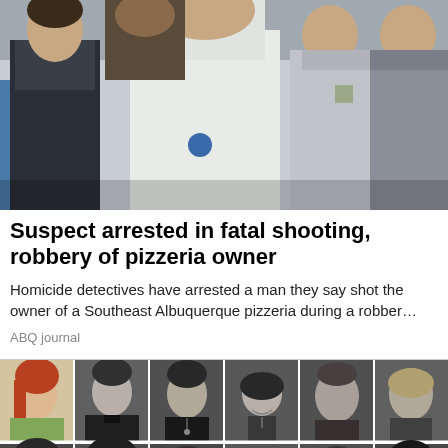[Figure (photo): News photo showing a suspect in a white forensic suit being escorted by police officers]
Suspect arrested in fatal shooting, robbery of pizzeria owner
Homicide detectives have arrested a man they say shot the owner of a Southeast Albuquerque pizzeria during a robber…
ABQ journal
[Figure (photo): Grid of black and white and color yearbook-style portrait photos of multiple individuals arranged in two rows of six]